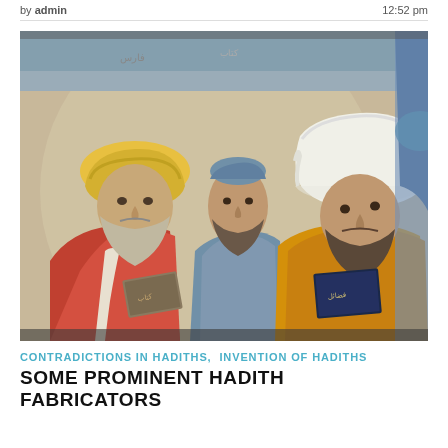by admin  |  12:52 pm
[Figure (illustration): A painting depicting three bearded men wearing turbans in Islamic/Middle Eastern style, holding books with Arabic script. The man on the left wears a yellow turban and red robe, the middle man wears a small blue cap, and the man on the right wears a large white turban and yellow/orange robe. A fourth figure is partially visible on the right.]
CONTRADICTIONS IN HADITHS,  INVENTION OF HADITHS
SOME PROMINENT HADITH FABRICATORS